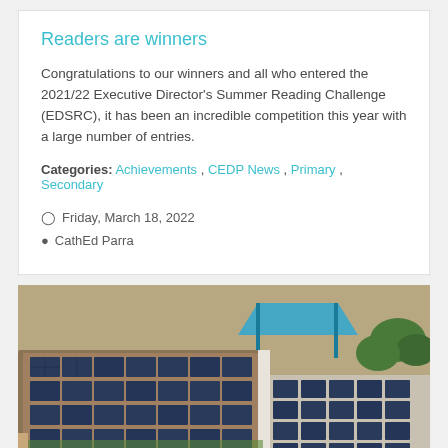Readers are winners
Congratulations to our winners and all who entered the 2021/22 Executive Director's Summer Reading Challenge (EDSRC), it has been an incredible competition this year with a large number of entries.
Categories: Achievements , CEDP News , Primary , Secondary
Friday, March 18, 2022
CathEd Parra
[Figure (photo): Aerial view of a school building rooftop covered with solar panels, with blue shade structure visible, surrounded by grounds and trees.]